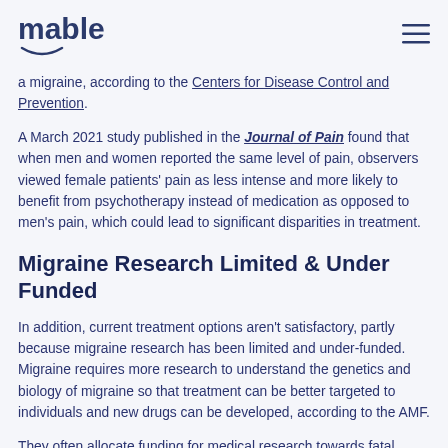mable
a migraine, according to the Centers for Disease Control and Prevention.
A March 2021 study published in the Journal of Pain found that when men and women reported the same level of pain, observers viewed female patients' pain as less intense and more likely to benefit from psychotherapy instead of medication as opposed to men's pain, which could lead to significant disparities in treatment.
Migraine Research Limited & Under Funded
In addition, current treatment options aren't satisfactory, partly because migraine research has been limited and under-funded. Migraine requires more research to understand the genetics and biology of migraine so that treatment can be better targeted to individuals and new drugs can be developed, according to the AMF.
They often allocate funding for medical research towards fatal conditions at the expense of other chronic health conditions